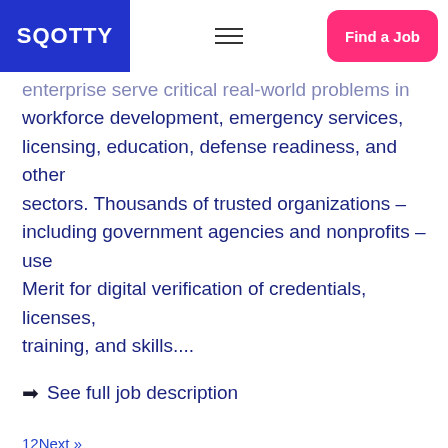SQOTTY | Find a Job
enterprise serve critical real-world problems in workforce development, emergency services, licensing, education, defense readiness, and other sectors. Thousands of trusted organizations – including government agencies and nonprofits – use Merit for digital verification of credentials, licenses, training, and skills....
→ See full job description
12Next »